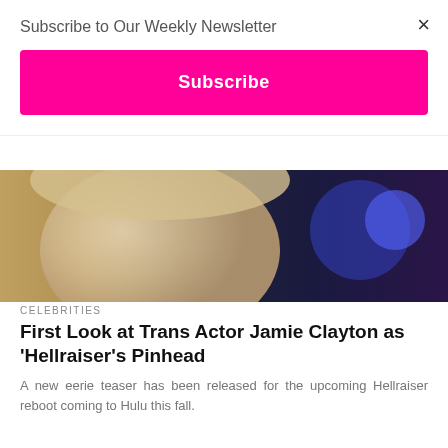[Figure (photo): Partial view of a blonde person against a dark blue background with bokeh lighting]
CELEBRITIES
First Look at Trans Actor Jamie Clayton as 'Hellraiser's Pinhead
A new eerie teaser has been released for the upcoming Hellraiser reboot coming to Hulu this fall.
[Figure (photo): Close-up photo of a dark-haired man (Daniel Radcliffe) against a dark blue background, with a view count badge showing 5.1K]
Subscribe to Our Weekly Newsletter
Subscribe
×